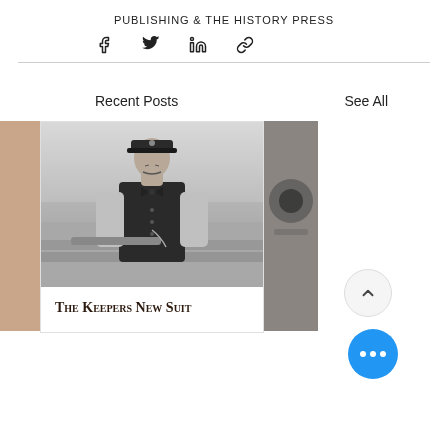PUBLISHING & THE HISTORY PRESS
[Figure (other): Social share icons: Facebook, Twitter, LinkedIn, Link]
Recent Posts
See All
[Figure (photo): Black and white photograph of a man in a lighthouse keeper uniform with a black vest, bow tie, and captain's cap, posed near a railing.]
The Keepers New Suit